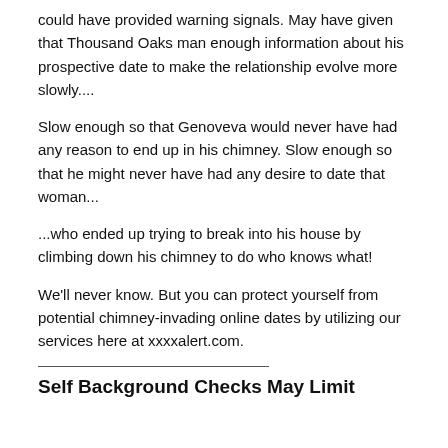could have provided warning signals. May have given that Thousand Oaks man enough information about his prospective date to make the relationship evolve more slowly....
Slow enough so that Genoveva would never have had any reason to end up in his chimney. Slow enough so that he might never have had any desire to date that woman...
...who ended up trying to break into his house by climbing down his chimney to do who knows what!
We'll never know. But you can protect yourself from potential chimney-invading online dates by utilizing our services here at xxxxalert.com.
Self Background Checks May Limit